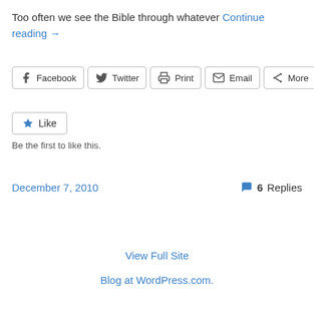Too often we see the Bible through whatever Continue reading →
[Figure (other): Social share buttons: Facebook, Twitter, Print, Email, More]
[Figure (other): Like button widget with star icon]
Be the first to like this.
December 7, 2010    6 Replies
View Full Site
Blog at WordPress.com.